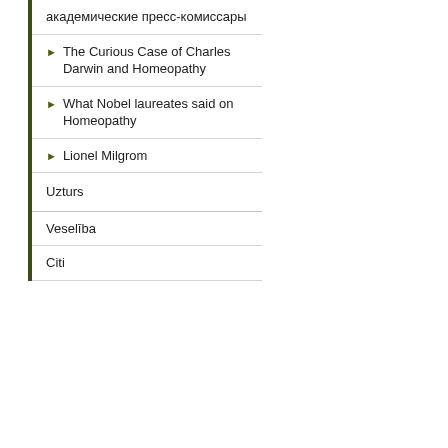академические пресс-комиссары
The Curious Case of Charles Darwin and Homeopathy
What Nobel laureates said on Homeopathy
Lionel Milgrom
Uzturs
Veselība
Citi